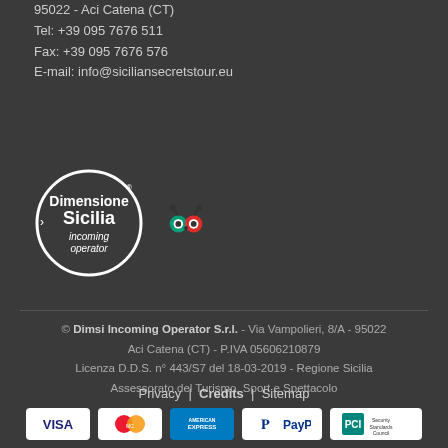95022 - Aci Catena (CT)
Tel: +39 095 7676 511
Fax: +39 095 7676 576
E-mail: info@siciliansecretstour.eu
[Figure (logo): Dimensione Sicilia incoming operator circular logo (white on dark background)]
[Figure (logo): TripAdvisor owl icon logo]
© Dimsi Incoming Operator S.r.l. - Via Vampolieri, 8/A - 95022 Aci Catena (CT) - P.IVA 05606210879
Licenza D.D.S. n° 443/S7 del 18-03-2019 - Regione Sicilia
Assessorato del Turismo, Sport e Spettacolo
Privacy | Credits | Sitemap
[Figure (logo): Payment method logos: VISA, MasterCard, American Express, PayPal, PCI Security Standards Council]